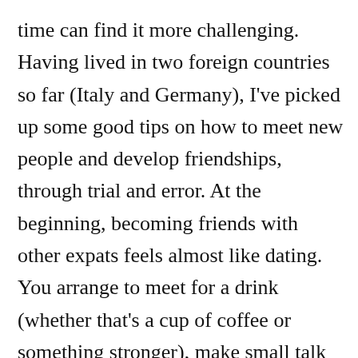time can find it more challenging. Having lived in two foreign countries so far (Italy and Germany), I've picked up some good tips on how to meet new people and develop friendships, through trial and error. At the beginning, becoming friends with other expats feels almost like dating. You arrange to meet for a drink (whether that's a cup of coffee or something stronger), make small talk and try to work out if you 'click' with each other. Sometimes it takes a few meet-ups to know whether you gel together or not, and sometimes it's an instantaneous 'yes'.  In my experience, expat friendships can be